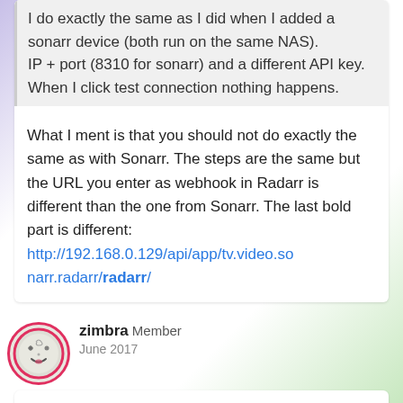I do exactly the same as I did when I added a sonarr device (both run on the same NAS). IP + port (8310 for sonarr) and a different API key. When I click test connection nothing happens.
What I ment is that you should not do exactly the same as with Sonarr. The steps are the same but the URL you enter as webhook in Radarr is different than the one from Sonarr. The last bold part is different: http://192.168.0.129/api/app/tv.video.sonarr.radarr/radarr/
zimbra Member
June 2017
Yes I understand but in order to add the webhook in radarr I need to create a radarr device in Homey